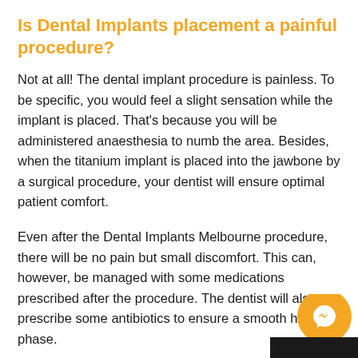Is Dental Implants placement a painful procedure?
Not at all! The dental implant procedure is painless. To be specific, you would feel a slight sensation while the implant is placed. That's because you will be administered anaesthesia to numb the area. Besides, when the titanium implant is placed into the jawbone by a surgical procedure, your dentist will ensure optimal patient comfort.
Even after the Dental Implants Melbourne procedure, there will be no pain but small discomfort. This can, however, be managed with some medications prescribed after the procedure. The dentist will also prescribe some antibiotics to ensure a smooth healing phase.
Are Dental Implants as Strong as perma...
[Figure (illustration): Orange circular messenger/chat icon button in the bottom right corner, with a dark background bar beneath it]